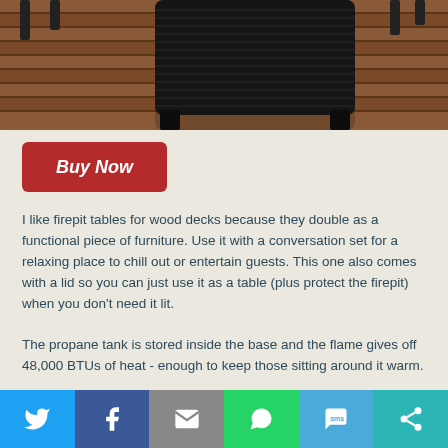[Figure (photo): Photo of a dark wicker/rattan firepit table on a wooden deck, viewed from above/side angle. The deck boards are brown/reddish wood grain and the firepit table is black.]
Buy Now
I like firepit tables for wood decks because they double as a functional piece of furniture. Use it with a conversation set for a relaxing place to chill out or entertain guests. This one also comes with a lid so you can just use it as a table (plus protect the firepit) when you don't need it lit.
The propane tank is stored inside the base and the flame gives off 48,000 BTUs of heat - enough to keep those sitting around it warm.
Pros:
[Figure (infographic): Social media share bar with icons: Twitter (blue), Facebook (dark blue), Email (gray), WhatsApp (green), SMS (light blue), More/Share (teal)]